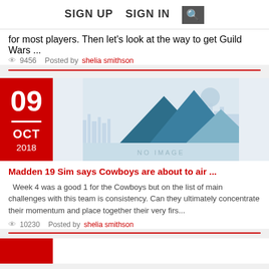SIGN UP   SIGN IN  [search]
for most players.  Then let's look at the way to get Guild Wars ...
👁 9456   Posted by shelia smithson
[Figure (illustration): No image placeholder with mountain/cityscape silhouette illustration in blue-grey tones]
Madden 19 Sim says Cowboys are about to air ...
Week 4 was a good 1 for the Cowboys but on the list of main challenges with this team is consistency. Can they ultimately concentrate their momentum and place together their very firs...
👁 10230   Posted by shelia smithson